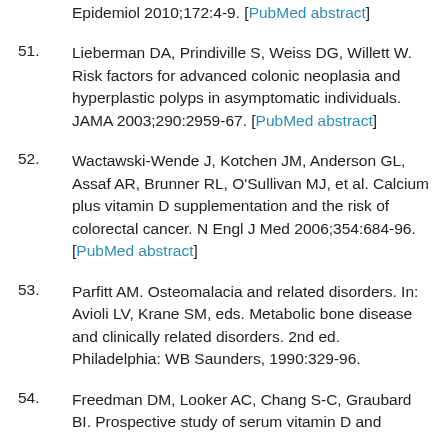Epidemiol 2010;172:4-9. [PubMed abstract]
51. Lieberman DA, Prindiville S, Weiss DG, Willett W. Risk factors for advanced colonic neoplasia and hyperplastic polyps in asymptomatic individuals. JAMA 2003;290:2959-67. [PubMed abstract]
52. Wactawski-Wende J, Kotchen JM, Anderson GL, Assaf AR, Brunner RL, O'Sullivan MJ, et al. Calcium plus vitamin D supplementation and the risk of colorectal cancer. N Engl J Med 2006;354:684-96. [PubMed abstract]
53. Parfitt AM. Osteomalacia and related disorders. In: Avioli LV, Krane SM, eds. Metabolic bone disease and clinically related disorders. 2nd ed. Philadelphia: WB Saunders, 1990:329-96.
54. Freedman DM, Looker AC, Chang S-C, Graubard BI. Prospective study of serum vitamin D and